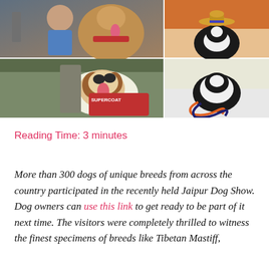[Figure (photo): Collage of four dog show photos: top-left shows a person with a large fluffy dog with red harness, top-right shows a small black and white dog wearing a sombrero hat, bottom-left shows a person with a Saint Bernard dog near a SUPERCOAT banner, bottom-right shows a small black and white dog with an orange and navy leash.]
Reading Time: 3 minutes
More than 300 dogs of unique breeds from across the country participated in the recently held Jaipur Dog Show. Dog owners can use this link to get ready to be part of it next time. The visitors were completely thrilled to witness the finest specimens of breeds like Tibetan Mastiff,